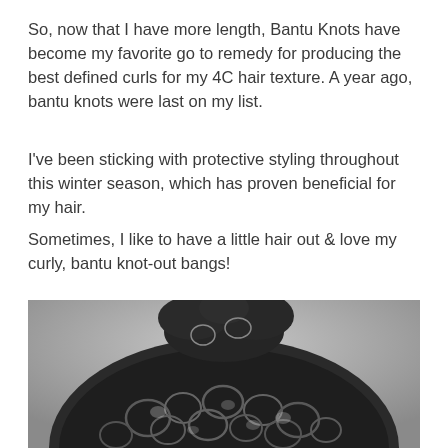So, now that I have more length,  Bantu Knots have become my favorite go to remedy for producing the best defined curls for my 4C hair texture. A year ago, bantu knots were last on my list.
I've been sticking with protective styling throughout this winter season, which has proven beneficial for my hair.
Sometimes, I like to have a little hair out & love my curly, bantu knot-out bangs!
[Figure (photo): Close-up photograph of tightly coiled 4C natural hair showing defined bantu knot-out curl pattern against a light background]